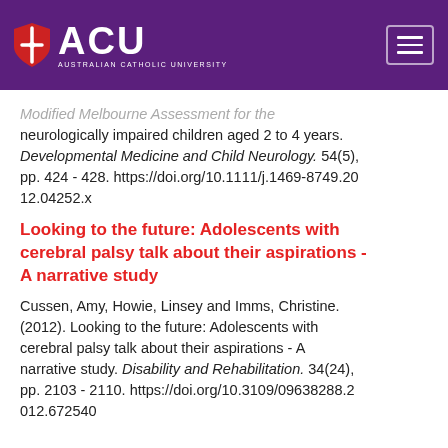ACU Australian Catholic University
Modified Melbourne Assessment for the neurologically impaired children aged 2 to 4 years. Developmental Medicine and Child Neurology. 54(5), pp. 424 - 428. https://doi.org/10.1111/j.1469-8749.2012.04252.x
Looking to the future: Adolescents with cerebral palsy talk about their aspirations - A narrative study
Cussen, Amy, Howie, Linsey and Imms, Christine. (2012). Looking to the future: Adolescents with cerebral palsy talk about their aspirations - A narrative study. Disability and Rehabilitation. 34(24), pp. 2103 - 2110. https://doi.org/10.3109/09638288.2012.672540